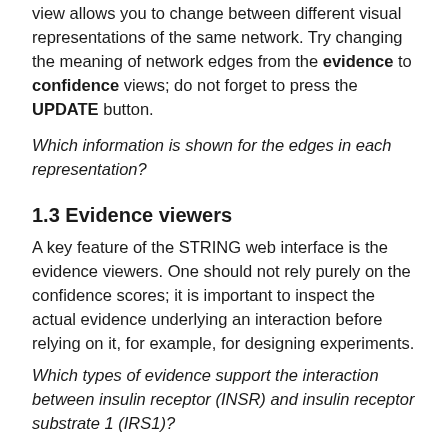view allows you to change between different visual representations of the same network. Try changing the meaning of network edges from the evidence to confidence views; do not forget to press the UPDATE button.
Which information is shown for the edges in each representation?
1.3 Evidence viewers
A key feature of the STRING web interface is the evidence viewers. One should not rely purely on the confidence scores; it is important to inspect the actual evidence underlying an interaction before relying on it, for example, for designing experiments.
Which types of evidence support the interaction between insulin receptor (INSR) and insulin receptor substrate 1 (IRS1)?
Further detail on the evidence of an interaction can be seen in a popup by clicking on the corresponding edge in the network. Click on the edge between INSR and IRS1 to view its popup; you may need to move the nodes to make this easier.
Which type of evidence gives the largest contribution to the